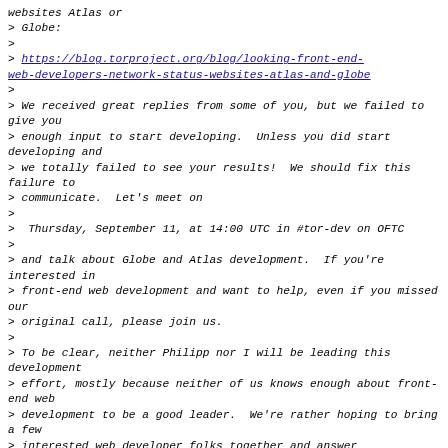websites Atlas or
> Globe:
>
> https://blog.torproject.org/blog/looking-front-end-web-developers-network-status-websites-atlas-and-globe
>
> We received great replies from some of you, but we failed to give you
> enough input to start developing.  Unless you did start developing and
> we totally failed to see your results!  We should fix this failure to
> communicate.  Let's meet on
>
>  Thursday, September 11, at 14:00 UTC in #tor-dev on OFTC
>
> and talk about Globe and Atlas development.  If you're interested in
> front-end web development and want to help, even if you missed our
> original call, please join us.
>
> To be clear, neither Philipp nor I will be leading this development
> effort, mostly because neither of us knows enough about front-end web
> development to be a good leader.  We're rather hoping to bring a few
> interested web developer folks together and answer